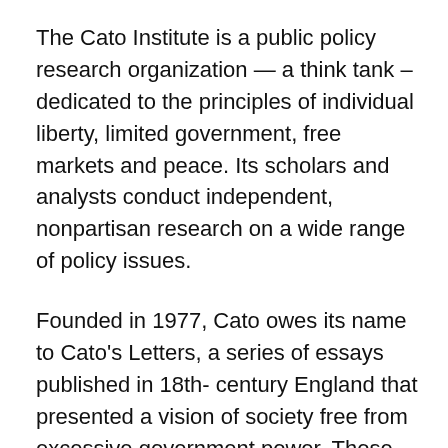The Cato Institute is a public policy research organization — a think tank – dedicated to the principles of individual liberty, limited government, free markets and peace. Its scholars and analysts conduct independent, nonpartisan research on a wide range of policy issues.
Founded in 1977, Cato owes its name to Cato's Letters, a series of essays published in 18th- century England that presented a vision of society free from excessive government power. Those essays inspired the architects of the American Revolution. And the simple, timeless principles of that revolution — individual liberty, limited government, and free markets – turn out to be even more powerful in today's world of global markets and unprecedented access to information than Jefferson or Madison could have imagined. Social and economic